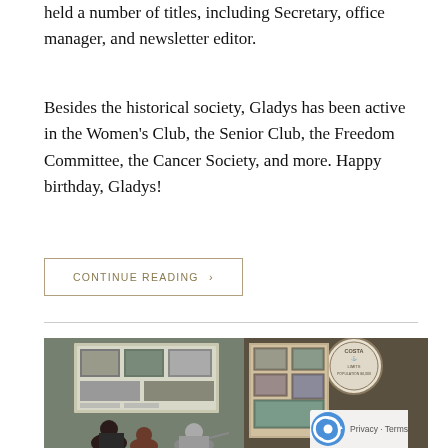held a number of titles, including Secretary, office manager, and newsletter editor.
Besides the historical society, Gladys has been active in the Women’s Club, the Senior Club, the Freedom Committee, the Cancer Society, and more. Happy birthday, Gladys!
CONTINUE READING ›
[Figure (photo): People looking at historical exhibits and photographs displayed in a museum or historical society setting, with a round seal/sign reading 'COSTA... LIMITS POPULATION 86,000' visible on the right side.]